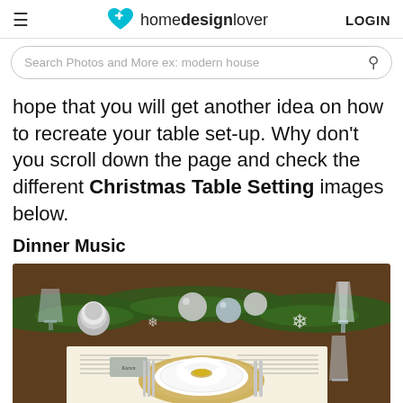homedesignlover — LOGIN
Search Photos and More ex: modern house
hope that you will get another idea on how to recreate your table set-up. Why don't you scroll down the page and check the different Christmas Table Setting images below.
Dinner Music
[Figure (photo): Christmas table setting with silver ornaments, pine branches, candles, crystal glasses, white napkin with gold napkin ring, and sheet music placemat]